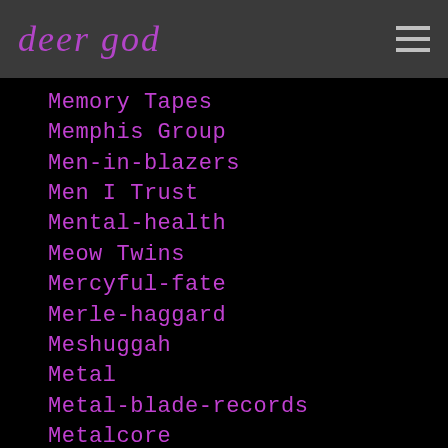deer god
Memory Tapes
Memphis Group
Men-in-blazers
Men I Trust
Mental-health
Meow Twins
Mercyful-fate
Merle-haggard
Meshuggah
Metal
Metal-blade-records
Metalcore
Metal-core
Metallica
Metalocalypse
Meteors
Method-acting